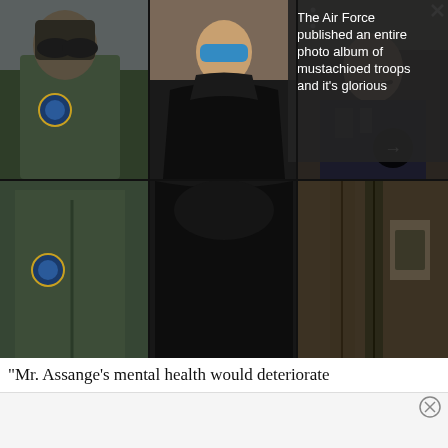[Figure (photo): A 2x3 grid of photos showing mustachioed Air Force troops in uniform and tactical gear, with a dark text overlay in the top-right showing the caption. A navigation arrow button is visible in the middle row.]
The Air Force published an entire photo album of mustachioed troops and it's glorious
“Mr. Assange’s mental health would deteriorate